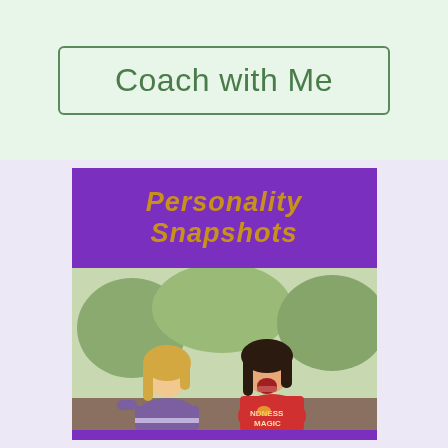Coach with Me
[Figure (illustration): Book cover for 'Personality Snapshots' showing two children — a blonde girl in a purple shirt and a dark-haired girl in a red shirt — facing each other outdoors. The title appears in gold italic text on a purple banner at the top.]